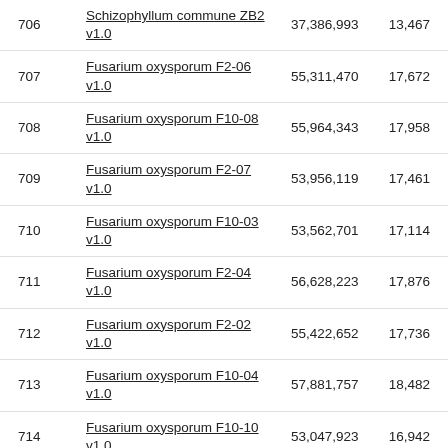| # | Name | Size | Genes |
| --- | --- | --- | --- |
| 706 | Schizophyllum commune ZB2 v1.0 | 37,386,993 | 13,467 |
| 707 | Fusarium oxysporum F2-06 v1.0 | 55,311,470 | 17,672 |
| 708 | Fusarium oxysporum F10-08 v1.0 | 55,964,343 | 17,958 |
| 709 | Fusarium oxysporum F2-07 v1.0 | 53,956,119 | 17,461 |
| 710 | Fusarium oxysporum F10-03 v1.0 | 53,562,701 | 17,114 |
| 711 | Fusarium oxysporum F2-04 v1.0 | 56,628,223 | 17,876 |
| 712 | Fusarium oxysporum F2-02 v1.0 | 55,422,652 | 17,736 |
| 713 | Fusarium oxysporum F10-04 v1.0 | 57,881,757 | 18,482 |
| 714 | Fusarium oxysporum F10-10 v1.0 | 53,047,923 | 16,942 |
| 715 | Fusarium oxysporum F2-01 v1.0 | 56,590,980 | 17,966 |